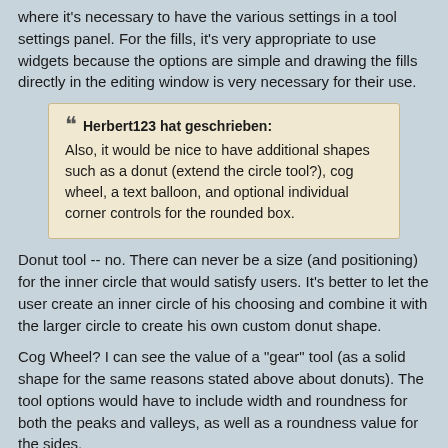where it's necessary to have the various settings in a tool settings panel. For the fills, it's very appropriate to use widgets because the options are simple and drawing the fills directly in the editing window is very necessary for their use.
Herbert123 hat geschrieben: Also, it would be nice to have additional shapes such as a donut (extend the circle tool?), cog wheel, a text balloon, and optional individual corner controls for the rounded box.
Donut tool -- no. There can never be a size (and positioning) for the inner circle that would satisfy users. It's better to let the user create an inner circle of his choosing and combine it with the larger circle to create his own custom donut shape.
Cog Wheel? I can see the value of a "gear" tool (as a solid shape for the same reasons stated above about donuts). The tool options would have to include width and roundness for both the peaks and valleys, as well as a roundness value for the sides.
Text balloons? There are so many potential styles that could be required that it's probably best to accommodate pre-built text balloons in either the Shapes or Outlines list.
Individual corner radii for the rounded rectangle tool is very low on my